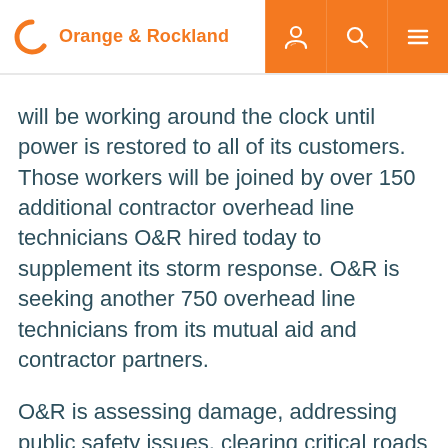Orange & Rockland
will be working around the clock until power is restored to all of its customers. Those workers will be joined by over 150 additional contractor overhead line technicians O&R hired today to supplement its storm response. O&R is seeking another 750 overhead line technicians from its mutual aid and contractor partners.
O&R is assessing damage, addressing public safety issues, clearing critical roads and restoring critical infrastructure. Full restoration will begin once these tasks are completed.